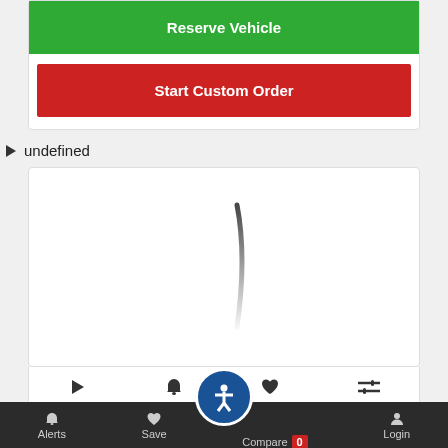[Figure (screenshot): Green 'Reserve Vehicle' button at top of card]
[Figure (screenshot): Red 'Start Custom Order' button below reserve button]
undefined
[Figure (screenshot): Loading spinner (partial arc) inside white card]
[Figure (screenshot): Bottom navigation bar with Alerts, Save, Compare (0), Login icons and accessibility button]